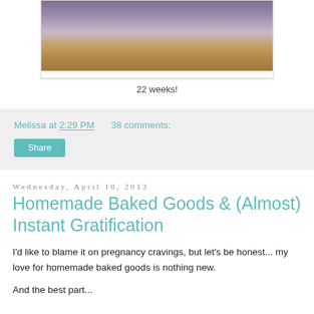[Figure (photo): Partial photo of a person's lower body in purple/lavender pants standing on a wooden floor with a bed in the background]
22 weeks!
Melissa at 2:29 PM    38 comments:
Share
Wednesday, April 10, 2013
Homemade Baked Goods & (Almost) Instant Gratification
I'd like to blame it on pregnancy cravings, but let's be honest... my love for homemade baked goods is nothing new.
And the best part...